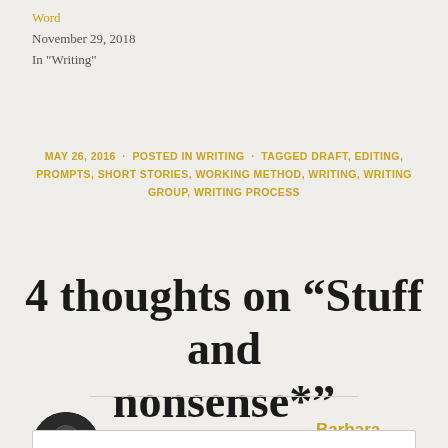Word
November 29, 2018
In "Writing"
MAY 26, 2016 · POSTED IN WRITING · TAGGED DRAFT, EDITING, PROMPTS, SHORT STORIES, WORKING METHOD, WRITING, WRITING GROUP, WRITING PROCESS
4 thoughts on “Stuff and nonsense*”
Barbara
MAY 26, 2016 AT 11:28 AM